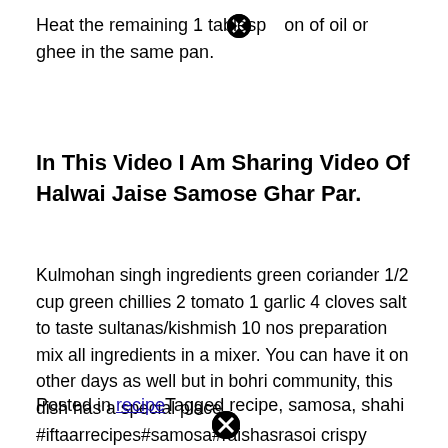Heat the remaining 1 tablespoon of oil or ghee in the same pan.
In This Video I Am Sharing Video Of Halwai Jaise Samose Ghar Par.
Kulmohan singh ingredients green coriander 1/2 cup green chillies 2 tomato 1 garlic 4 cloves salt to taste sultanas/kishmish 10 nos preparation mix all ingredients in a mixer. You can have it on other days as well but in bohri community, this dish has a special place. #iftaarrecipes#samosa#raishasrasoi crispy shahi aloo samosa recipe welcome to raisha's rasoi please do like share and.
Posted in recipeTagged recipe, samosa, shahi